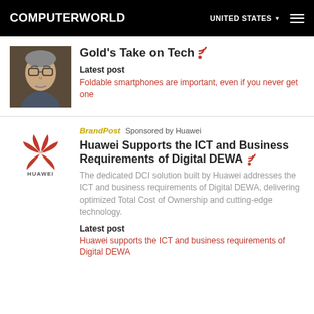COMPUTERWORLD  UNITED STATES
Gold's Take on Tech
Latest post
Foldable smartphones are important, even if you never get one
BrandPost  Sponsored by Huawei
Huawei Supports the ICT and Business Requirements of Digital DEWA
The dedicated DCI solution built by Huawei addresses the ICT and business requirements of Digital DEWA, delivering optimized Total Cost of Ownership and cutting-edge technology.
Latest post
Huawei supports the ICT and business requirements of Digital DEWA